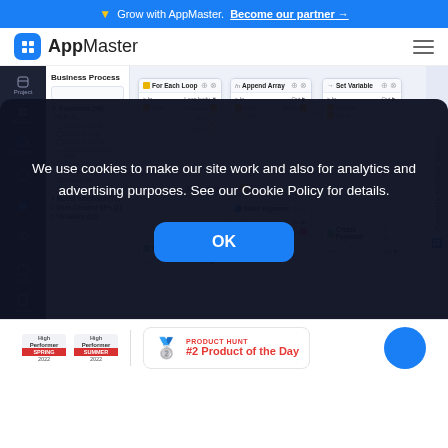Grow with AppMaster. Become our partner →
AppMaster
[Figure (screenshot): AppMaster no-code platform UI showing Business Process editor with flow nodes: For Each Loop, Append Array, Set Variable, Make Payment, Make Data, Create Payment]
We use cookies to make our site work and also for analytics and advertising purposes. See our Cookie Policy for details.
OK
#2 Product of the Day — PRODUCT HUNT
High Performer Spring 2022 | High Performer Summer 2022 | #2 Product of the Day